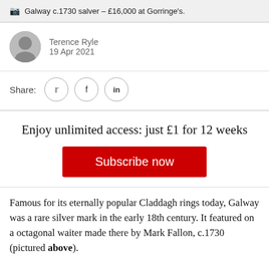Galway c.1730 salver – £16,000 at Gorringe's.
Terence Ryle
19 Apr 2021
Share:
Enjoy unlimited access: just £1 for 12 weeks
Subscribe now
Famous for its eternally popular Claddagh rings today, Galway was a rare silver mark in the early 18th century. It featured on a octagonal waiter made there by Mark Fallon, c.1730 (pictured above).